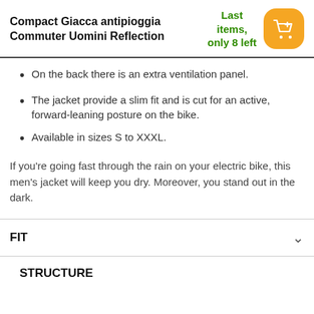Compact Giacca antipioggia Commuter Uomini Reflection
Last items, only 8 left
On the back there is an extra ventilation panel.
The jacket provide a slim fit and is cut for an active, forward-leaning posture on the bike.
Available in sizes S to XXXL.
If you're going fast through the rain on your electric bike, this men's jacket will keep you dry. Moreover, you stand out in the dark.
FIT
STRUCTURE